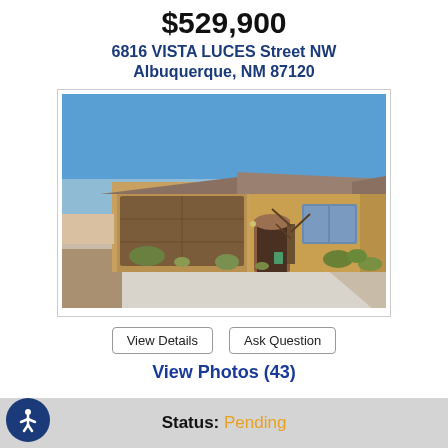$529,900
6816 VISTA LUCES Street NW
Albuquerque, NM 87120
[Figure (photo): Exterior photo of a single-story Southwest-style home with tan/adobe stucco, tile roof, two-car garage with brown door, desert landscaping, and blue sky background.]
View Details
Ask Question
View Photos (43)
Status: Pending